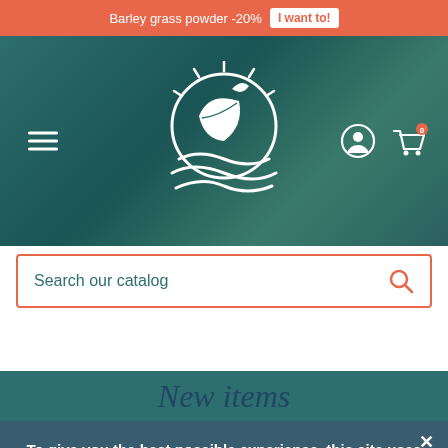Barley grass powder -20% | I want to!
[Figure (logo): Circular logo with leaf/plant design on dark teal gradient background, hamburger menu icon on left, user and cart icons on right]
Search our catalog
New items
To give you the best possible experience, this site uses cookies. Using your site means your agree to our use of cookies. We have published a new cookies policy, which you should need to find out more about the cookies we use. View cookies policy.
Accept
PACK